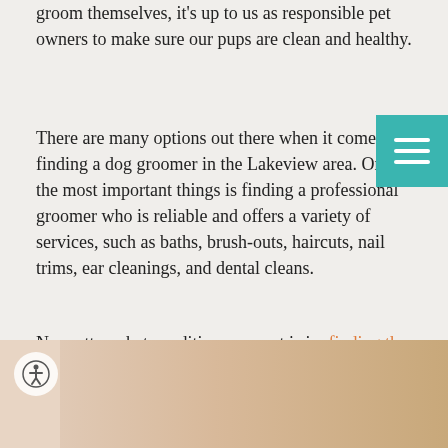groom themselves, it's up to us as responsible pet owners to make sure our pups are clean and healthy.
There are many options out there when it comes to finding a dog groomer in the Lakeview area. One of the most important things is finding a professional groomer who is reliable and offers a variety of services, such as baths, brush-outs, haircuts, nail trims, ear cleanings, and dental cleans.
No matter what condition your pet is in, finding the right dog groomer in the Lakeview area is an important first step in ensuring your companion's long term health and happiness.
[Figure (photo): Photo of a dog being groomed, with an accessibility icon button overlay in the bottom left corner]